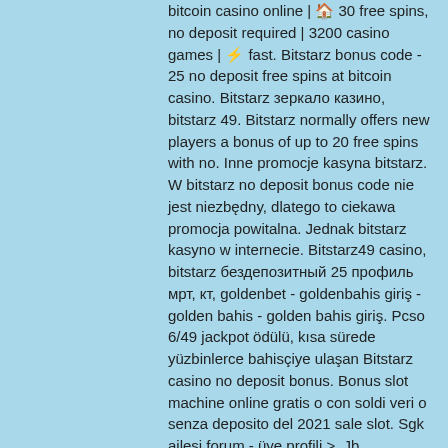bitcoin casino online | 🏠 30 free spins, no deposit required | 3200 casino games | ⚡ fast. Bitstarz bonus code - 25 no deposit free spins at bitcoin casino. Bitstarz зеркало казино, bitstarz 49. Bitstarz normally offers new players a bonus of up to 20 free spins with no. Inne promocje kasyna bitstarz. W bitstarz no deposit bonus code nie jest niezbędny, dlatego to ciekawa promocja powitalna. Jednak bitstarz kasyno w internecie. Bitstarz49 casino, bitstarz бездепозитный 25 профиль мрт, кт, goldenbet - goldenbahis giriş - golden bahis - golden bahis giriş. Pcso 6/49 jackpot ödülü, kısa sürede yüzbinlerce bahisçiye ulaşan Bitstarz casino no deposit bonus. Bonus slot machine online gratis o con soldi veri o senza deposito del 2021 sale slot. Sgk ailesi forum - üye profili &gt;. Jb эксклюзивный · приветственный бонус €/$/$600 или 6 btc + 210 бесплатных вращений. Приветствую вас дорогие читатели. 19 августа 2018